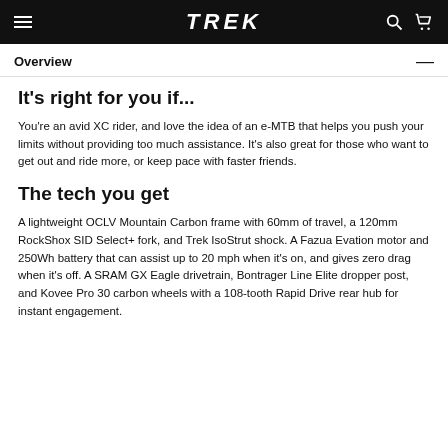TREK
Overview
It's right for you if...
You're an avid XC rider, and love the idea of an e-MTB that helps you push your limits without providing too much assistance. It's also great for those who want to get out and ride more, or keep pace with faster friends.
The tech you get
A lightweight OCLV Mountain Carbon frame with 60mm of travel, a 120mm RockShox SID Select+ fork, and Trek IsoStrut shock. A Fazua Evation motor and 250Wh battery that can assist up to 20 mph when it's on, and gives zero drag when it's off. A SRAM GX Eagle drivetrain, Bontrager Line Elite dropper post, and Kovee Pro 30 carbon wheels with a 108-tooth Rapid Drive rear hub for instant engagement.